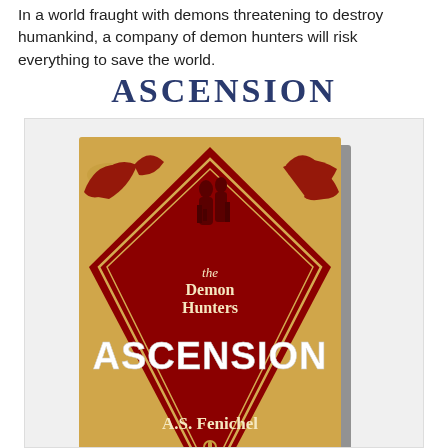In a world fraught with demons threatening to destroy humankind, a company of demon hunters will risk everything to save the world.
ASCENSION
[Figure (illustration): Book cover for 'Ascension' by A.S. Fenichel, part of 'the Demon Hunters' series. Gold and red cover with a diamond/rhombus design, decorative scrollwork, silhouette of two figures at the top, and a cross/key symbol at the bottom. Large white text reads ASCENSION in the center.]